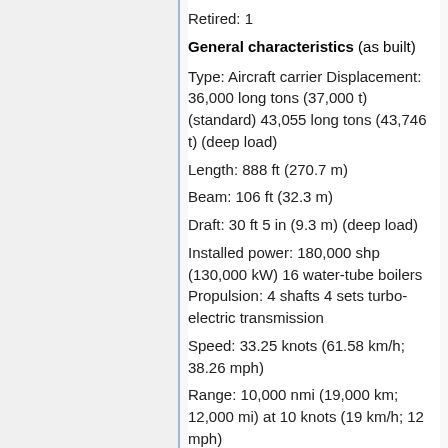Retired: 1
General characteristics (as built)
Type: Aircraft carrier Displacement: 36,000 long tons (37,000 t) (standard) 43,055 long tons (43,746 t) (deep load)
Length: 888 ft (270.7 m)
Beam: 106 ft (32.3 m)
Draft: 30 ft 5 in (9.3 m) (deep load)
Installed power: 180,000 shp (130,000 kW) 16 water-tube boilers Propulsion: 4 shafts 4 sets turbo-electric transmission
Speed: 33.25 knots (61.58 km/h; 38.26 mph)
Range: 10,000 nmi (19,000 km; 12,000 mi) at 10 knots (19 km/h; 12 mph)
Complement: 2,791 (including aviation personnel) in 1942 Armament: